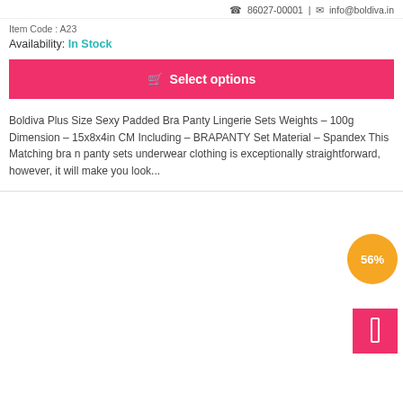☎ 86027-00001  |  ✉  info@boldiva.in
Item Code : A23
Availability: In Stock
🛒  Select options
Boldiva Plus Size Sexy Padded Bra Panty Lingerie Sets Weights – 100g Dimension – 15x8x4in CM Including – BRAPANTY Set Material – Spandex This Matching bra n panty sets underwear clothing is exceptionally straightforward, however, it will make you look...
[Figure (other): Orange circular badge showing 56% discount. Pink rectangular button/icon in lower right corner.]